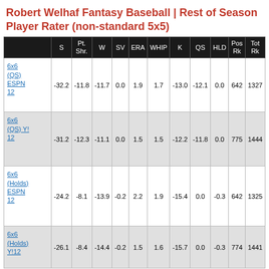Robert Welhaf Fantasy Baseball | Rest of Season Player Rater (non-standard 5x5)
|  | S | Pt. Shr. | W | SV | ERA | WHIP | K | QS | HLD | Pos Rk | Tot Rk |
| --- | --- | --- | --- | --- | --- | --- | --- | --- | --- | --- | --- |
| 6x6 (QS) ESPN 12 | -32.2 | -11.8 | -11.7 | 0.0 | 1.9 | 1.7 | -13.0 | -12.1 | 0.0 | 642 | 1327 |
| 6x6 (QS) Y! 12 | -31.2 | -12.3 | -11.1 | 0.0 | 1.5 | 1.5 | -12.2 | -11.8 | 0.0 | 775 | 1444 |
| 6x6 (Holds) ESPN 12 | -24.2 | -8.1 | -13.9 | -0.2 | 2.2 | 1.9 | -15.4 | 0.0 | -0.3 | 642 | 1325 |
| 6x6 (Holds) Y!12 | -26.1 | -8.4 | -14.4 | -0.2 | 1.5 | 1.6 | -15.7 | 0.0 | -0.3 | 774 | 1441 |